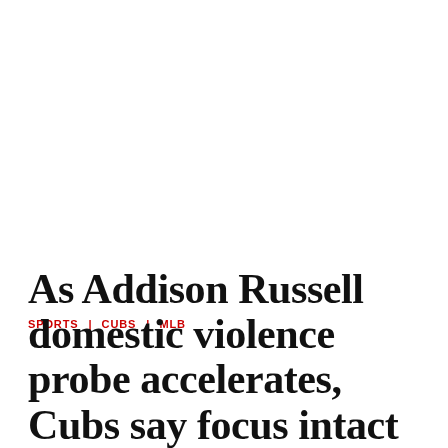SPORTS   CUBS   MLB
As Addison Russell domestic violence probe accelerates, Cubs say focus intact